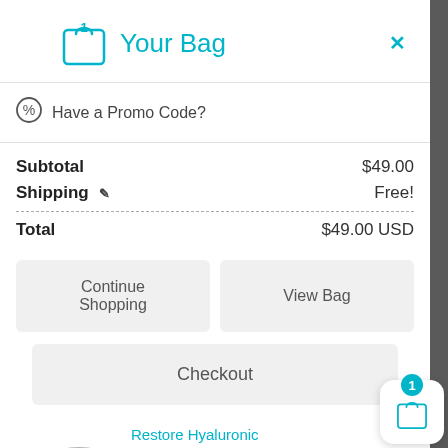Your Bag
Have a Promo Code?
| Label | Value |
| --- | --- |
| Subtotal | $49.00 |
| Shipping | Free! |
| Total | $49.00 USD |
Continue Shopping
View Bag
Checkout
Restore Hyaluronic Moisturizing Cream
$32.00
+ ADD
ly for the
ht use a feels after a
hich will
to dry, th water.
hat we toughest he skin. ial skin, so n time than
rs
the end,